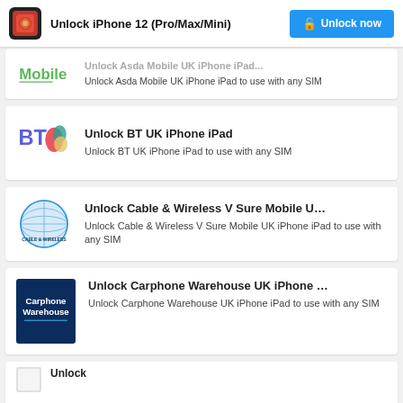Unlock iPhone 12 (Pro/Max/Mini)  Unlock now
Unlock Asda Mobile UK iPhone iPad to use with any SIM
Unlock BT UK iPhone iPad — Unlock BT UK iPhone iPad to use with any SIM
Unlock Cable & Wireless V Sure Mobile U... — Unlock Cable & Wireless V Sure Mobile UK iPhone iPad to use with any SIM
Unlock Carphone Warehouse UK iPhone ... — Unlock Carphone Warehouse UK iPhone iPad to use with any SIM
Unlock (partial, cut off)